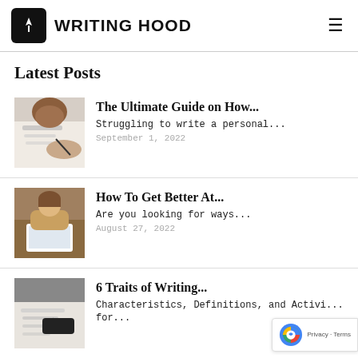WRITING HOOD
Latest Posts
[Figure (photo): Person writing calligraphy with a pen on paper]
The Ultimate Guide on How...
Struggling to write a personal...
September 1, 2022
[Figure (photo): Woman sitting at a desk working on a laptop]
How To Get Better At...
Are you looking for ways...
August 27, 2022
[Figure (photo): Person writing with a pen on paper]
6 Traits of Writing...
Characteristics, Definitions, and Activities for...